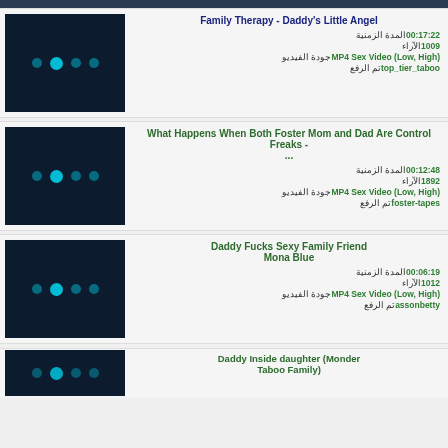[Figure (screenshot): Video listing page with thumbnails and metadata in Arabic and English]
Family Therapy - Daddy's Little Angel | Duration: 00:17:22 | Views: 1009 | Quality: MP4 Sex Video (Low, High) | Uploaded by: top_tier_taboo
What Happens When Both Foster Mom and Dad Are Control Freaks -... | Duration: 00:12:48 | Views: 1892 | Quality: MP4 Sex Video (Low, High) | Uploaded by: foster-tapes
Daddy Fucks Sexy Family Friend Mona Blue | Duration: 00:06:19 | Views: 1012 | Quality: MP4 Sex Video (Low, High) | Uploaded by: assonbetty
Daddy Inside daughter (Monder Taboo Family)